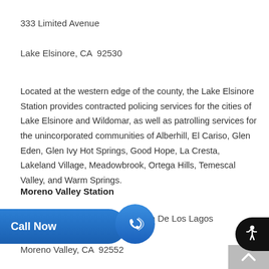333 Limited Avenue
Lake Elsinore, CA  92530
Located at the western edge of the county, the Lake Elsinore Station provides contracted policing services for the cities of Lake Elsinore and Wildomar, as well as patrolling services for the unincorporated communities of Alberhill, El Cariso, Glen Eden, Glen Ivy Hot Springs, Good Hope, La Cresta, Lakeland Village, Meadowbrook, Ortega Hills, Temescal Valley, and Warm Springs.
Moreno Valley Station
[Figure (other): Blue 'Call Now' button with phone icon]
n De Los Lagos
Moreno Valley, CA  92552
[Figure (other): Accessibility icon button (wheelchair symbol) in black circle on right edge]
[Figure (other): Scroll to top button with upward arrow, gray background, bottom right]